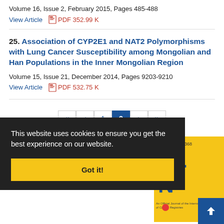Volume 16, Issue 2, February 2015, Pages 485-488
View Article  PDF 352.99 K
25. Association of CYP2E1 and NAT2 Polymorphisms with Lung Cancer Susceptibility among Mongolian and Han Populations in the Inner Mongolian Region
Volume 15, Issue 21, December 2014, Pages 9203-9210
View Article  PDF 532.75 K
« ‹ 1 2 › »
This website uses cookies to ensure you get the best experience on our website.
Got it!
[Figure (other): Partial journal cover image showing ISSN 1513-7368, letters AL and N in blue on yellow background, with green circle and red dot elements]